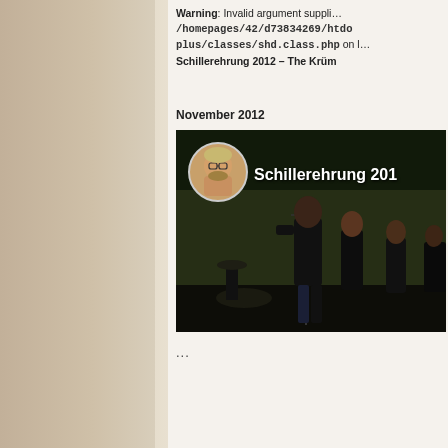Warning: Invalid argument supplied /homepages/42/d73834269/htdocs/plus/classes/shd.class.php on line ... Schillerehrung 2012 – The Krümm...
November 2012
[Figure (screenshot): Video thumbnail showing a dark stage scene with people in black clothing performing. Overlay shows a circular profile picture of a bearded man and text 'Schillerehrung 201' in white.]
...